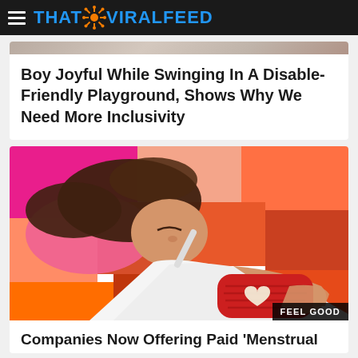THAT VIRALFEED
Boy Joyful While Swinging In A Disable-Friendly Playground, Shows Why We Need More Inclusivity
[Figure (photo): Woman lying on colorful patchwork bed/couch holding a red hot water bottle with a heart shape against her abdomen, eyes closed, wearing a white tank top]
FEEL GOOD
Companies Now Offering Paid 'Menstrual